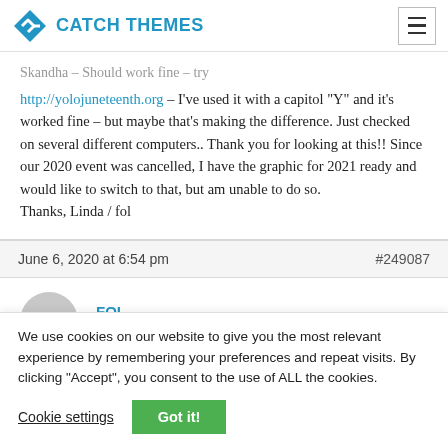CATCH THEMES
Skandha – Should work fine – try http://yolojuneteenth.org – I've used it with a capitol "Y" and it's worked fine – but maybe that's making the difference. Just checked on several different computers.. Thank you for looking at this!! Since our 2020 event was cancelled, I have the graphic for 2021 ready and would like to switch to that, but am unable to do so.
Thanks, Linda / fol
June 6, 2020 at 6:54 pm   #249087
FOL
Participant
We use cookies on our website to give you the most relevant experience by remembering your preferences and repeat visits. By clicking "Accept", you consent to the use of ALL the cookies.